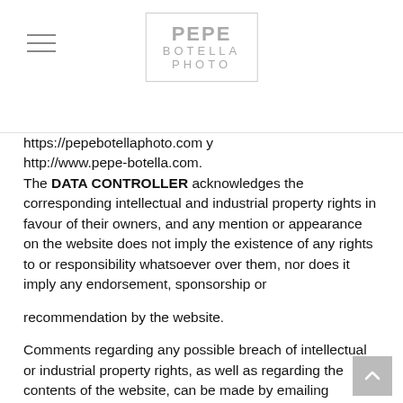PEPE BOTELLA PHOTO
https://pepebotellaphoto.com y http://www.pepe-botella.com. The DATA CONTROLLER acknowledges the corresponding intellectual and industrial property rights in favour of their owners, and any mention or appearance on the website does not imply the existence of any rights to or responsibility whatsoever over them, nor does it imply any endorsement, sponsorship or recommendation by the website.
Comments regarding any possible breach of intellectual or industrial property rights, as well as regarding the contents of the website, can be made by emailing info@pepe-botella.com.
3. EXEMPTION FROM LIABILITY
The DATA CONTROLLER cannot be held liable for any information published on their website whenever this information has been manipulated